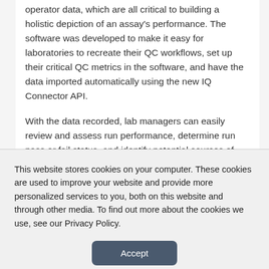operator data, which are all critical to building a holistic depiction of an assay's performance. The software was developed to make it easy for laboratories to recreate their QC workflows, set up their critical QC metrics in the software, and have the data imported automatically using the new IQ Connector API.
With the data recorded, lab managers can easily review and assess run performance, determine run pass or fail status, and identify potential sources of assay drift that may cause problems in future runs. The software then generates a Run QC report that can
This website stores cookies on your computer. These cookies are used to improve your website and provide more personalized services to you, both on this website and through other media. To find out more about the cookies we use, see our Privacy Policy.
Accept